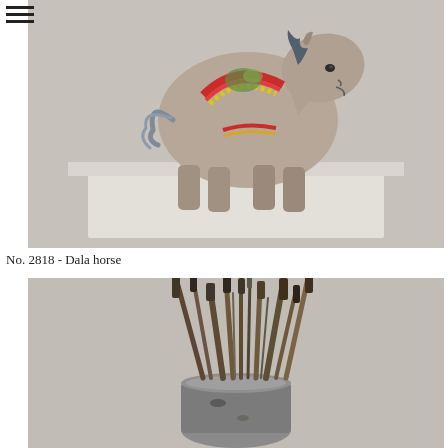[Figure (photo): A worn painted wooden Dala horse figurine with faded colors (blue, red, yellow, green) placed on a white pedestal against a light gray background.]
No. 2818 - Dala horse
[Figure (photo): A collection of artist paint brushes and tools of various sizes gathered in a metal container, shot from above against a light gray background.]